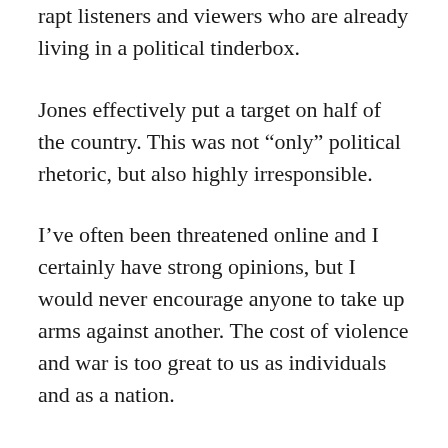rapt listeners and viewers who are already living in a political tinderbox.
Jones effectively put a target on half of the country. This was not “only” political rhetoric, but also highly irresponsible.
I’ve often been threatened online and I certainly have strong opinions, but I would never encourage anyone to take up arms against another. The cost of violence and war is too great to us as individuals and as a nation.
I served over 20 years fighting for this country in the US Army. Many of those years were served in war-torn countries. I saw the destroyed homes and museums in Iraq. I visited the Holocaust museums and concentration camps throughout Germany and Austria.